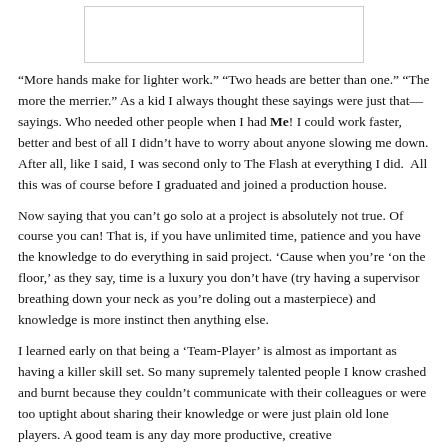[Figure (other): Blank/white image placeholder box at top of page]
“More hands make for lighter work.” “Two heads are better than one.” “The more the merrier.” As a kid I always thought these sayings were just that—sayings. Who needed other people when I had Me! I could work faster, better and best of all I didn’t have to worry about anyone slowing me down. After all, like I said, I was second only to The Flash at everything I did.  All this was of course before I graduated and joined a production house.
Now saying that you can’t go solo at a project is absolutely not true. Of course you can! That is, if you have unlimited time, patience and you have the knowledge to do everything in said project. ‘Cause when you’re ‘on the floor,’ as they say, time is a luxury you don’t have (try having a supervisor breathing down your neck as you’re doling out a masterpiece) and knowledge is more instinct then anything else.
I learned early on that being a ‘Team-Player’ is almost as important as having a killer skill set. So many supremely talented people I know crashed and burnt because they couldn’t communicate with their colleagues or were too uptight about sharing their knowledge or were just plain old lone players. A good team is any day more productive, creative